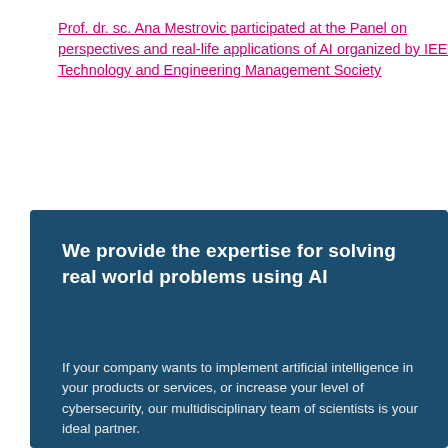Prof. dr. sc. Ana Mestrovic participated at the Panel on perspectives and real-life applications of AI organized by IEEE Technology and Engineering Management Society
We provide the expertise for solving real world problems using AI
If your company wants to implement artificial intelligence in your products or services, or increase your level of cybersecurity, our multidisciplinary team of scientists is your ideal partner.